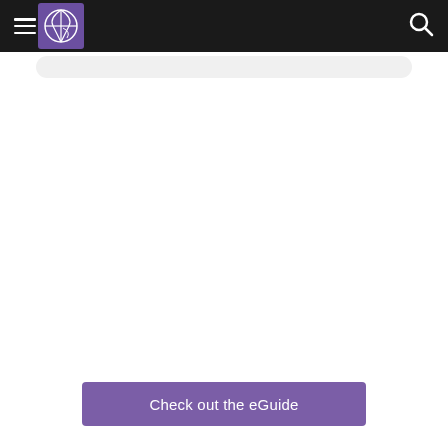Navigation bar with hamburger menu, logo, and search icon
[Figure (logo): Purple square logo with a globe/circle icon containing geometric lines in white, representing an organization or publication logo]
Check out the eGuide